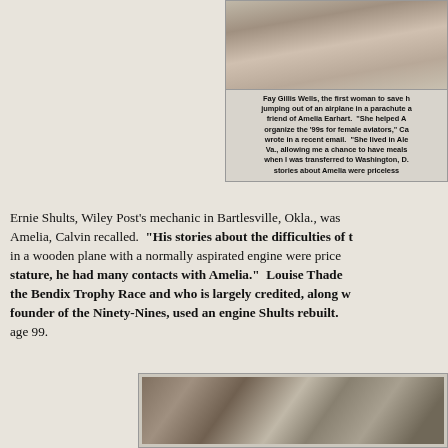[Figure (photo): Black and white photo of a person, partially visible at top of caption box]
Fay Gillis Wells, the first woman to save h... jumping out of an airplane in a parachute a... friend of Amelia Earhart. "She helped A... organize the '99s for female aviators," Ca... wrote in a recent email. "She lived in Ale... Va., allowing me a chance to have meals ... when I was transferred to Washington, D.... stories about Amelia were priceless...
Ernie Shults, Wiley Post's mechanic in Bartlesville, Okla., was... Amelia, Calvin recalled. "His stories about the difficulties of t... in a wooden plane with a normally aspirated engine were price... stature, he had many contacts with Amelia." Louise Thade... the Bendix Trophy Race and who is largely credited, along ... founder of the Ninety-Nines, used an engine Shults rebuilt.... age 99.
[Figure (photo): Black and white historical photo at bottom of page, partially visible]